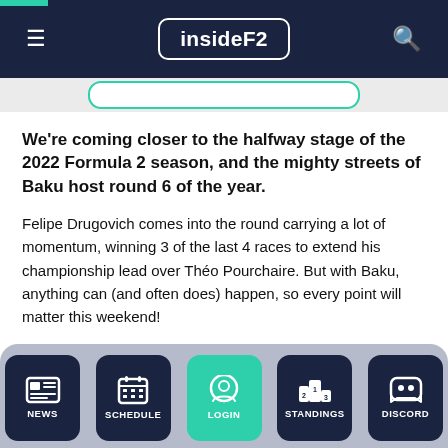insideF2
We're coming closer to the halfway stage of the 2022 Formula 2 season, and the mighty streets of Baku host round 6 of the year.
Felipe Drugovich comes into the round carrying a lot of momentum, winning 3 of the last 4 races to extend his championship lead over Théo Pourchaire. But with Baku, anything can (and often does) happen, so every point will matter this weekend!
[Figure (screenshot): Bottom navigation bar with NEWS, SCHEDULE, LOGIN (green), STANDINGS, DISCORD icons]